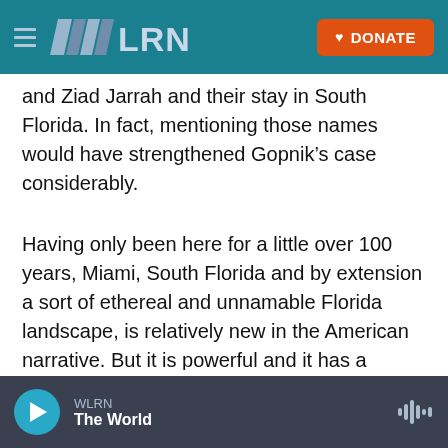[Figure (logo): WLRN radio station navigation bar with hamburger menu, WLRN logo, and orange DONATE button]
and Ziad Jarrah and their stay in South Florida. In fact, mentioning those names would have strengthened Gopnik’s case considerably.
Having only been here for a little over 100 years, Miami, South Florida and by extension a sort of ethereal and unnamable Florida landscape, is relatively new in the American narrative. But it is powerful and it has a persuasion that fascinates young and old, and through sex, crime and the search for glory, a perverted version of the American dream emerges amongst the saw grass and citrus groves. Yes it sounds like home.
WLRN | The World